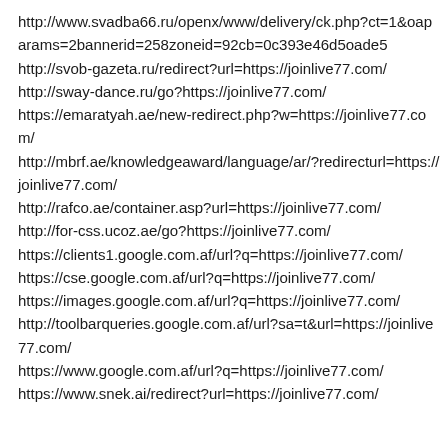http://www.svadba66.ru/openx/www/delivery/ck.php?ct=1&oaparams=2bannerid=258zoneid=92cb=0c393e46d5oade5
http://svob-gazeta.ru/redirect?url=https://joinlive77.com/
http://sway-dance.ru/go?https://joinlive77.com/
https://emaratyah.ae/new-redirect.php?w=https://joinlive77.com/
http://mbrf.ae/knowledgeaward/language/ar/?redirecturl=https://joinlive77.com/
http://rafco.ae/container.asp?url=https://joinlive77.com/
http://for-css.ucoz.ae/go?https://joinlive77.com/
https://clients1.google.com.af/url?q=https://joinlive77.com/
https://cse.google.com.af/url?q=https://joinlive77.com/
https://images.google.com.af/url?q=https://joinlive77.com/
http://toolbarqueries.google.com.af/url?sa=t&url=https://joinlive77.com/
https://www.google.com.af/url?q=https://joinlive77.com/
https://www.snek.ai/redirect?url=https://joinlive77.com/